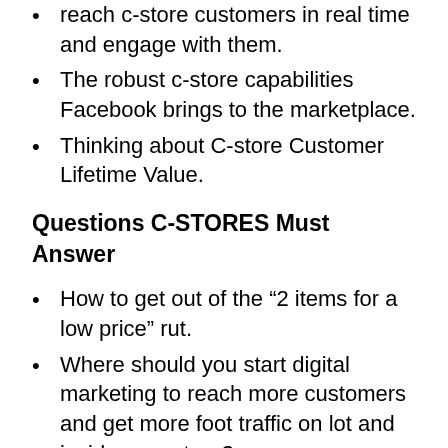reach c-store customers in real time and engage with them.
The robust c-store capabilities Facebook brings to the marketplace.
Thinking about C-store Customer Lifetime Value.
Questions C-STORES Must Answer
How to get out of the “2 items for a low price” rut.
Where should you start digital marketing to reach more customers and get more foot traffic on lot and inside your store?
New thinking about How to promote the FOOD category within a convenience store. Where would we start?